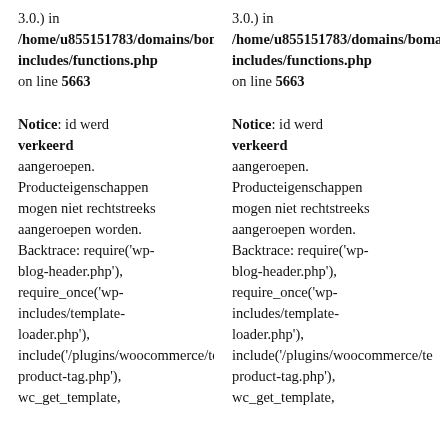3.0.) in /home/u855151783/domains/bomale/u855151783/public_html/wp-includes/functions.php on line 5663
3.0.) in /home/u855151783/domains/bomale/u855151783/public_html/wp-includes/functions.php on line 5663
Notice: id werd verkeerd aangeroepen. Producteigenschappen mogen niet rechtstreeks aangeroepen worden. Backtrace: require('wp-blog-header.php'), require_once('wp-includes/template-loader.php'), include('/plugins/woocommerce/templates/taxonomy-product-tag.php'), wc_get_template,
Notice: id werd verkeerd aangeroepen. Producteigenschappen mogen niet rechtstreeks aangeroepen worden. Backtrace: require('wp-blog-header.php'), require_once('wp-includes/template-loader.php'), include('/plugins/woocommerce/templates/taxonomy-product-tag.php'), wc_get_template,